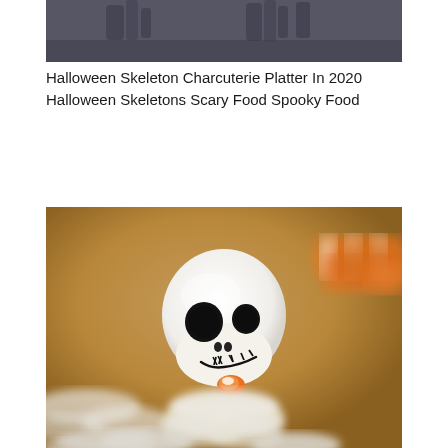[Figure (photo): Top portion of a Halloween skeleton charcuterie platter showing skeleton hands/figures against a dark background]
Halloween Skeleton Charcuterie Platter In 2020 Halloween Skeletons Scary Food Spooky Food
[Figure (photo): Close-up photo of a white fondant/marshmallow skeleton figure with a skull head painted with black eye sockets and stitched mouth, holding an orange candy corn, set against a warm brown/tan blurred background with orange and white striped candy visible in the upper right]